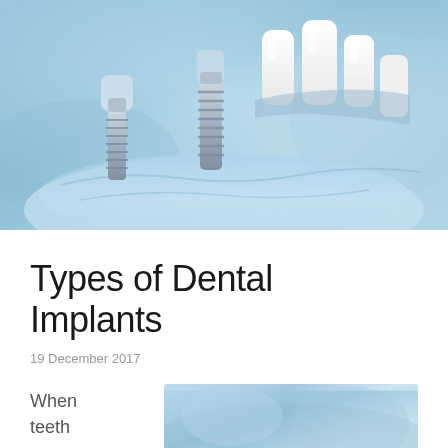[Figure (photo): Close-up photo of a dental implant model showing titanium screw implants and white tooth crowns on a translucent blue jaw model]
Types of Dental Implants
19 December 2017
When teeth
[Figure (photo): Partial view of a dental/clinical photo with blue tones, likely showing a dental procedure or model]